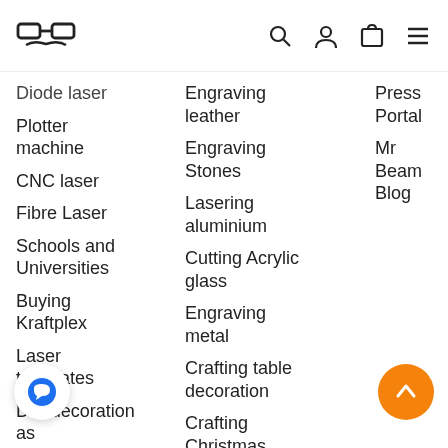Mr Beam logo with navigation icons (search, user, cart, menu)
Diode laser
Plotter machine
CNC laser
Fibre Laser
Schools and Universities
Buying Kraftplex
Laser templates
DIY decoration as
Engraving leather
Engraving Stones
Lasering aluminium
Cutting Acrylic glass
Engraving metal
Crafting table decoration
Crafting Christmas decorations
Press Portal
Mr Beam Blog